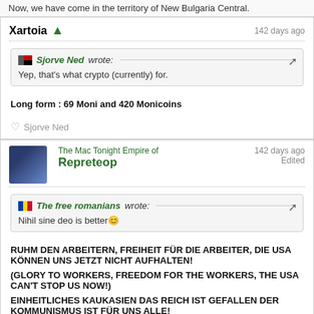Now, we have come in the territory of New Bulgaria Central.
Xartoia 142 days ago
Sjorve Ned wrote: Yep, that's what crypto (currently) for.
Long form : 69 Moni and 420 Monicoins
♥ Sjorve Ned
The Mac Tonight Empire of Repreteop 142 days ago Edited
The free romanians wrote: Nihil sine deo is better😊
RUHM DEN ARBEITERN, FREIHEIT FÜR DIE ARBEITER, DIE USA KÖNNEN UNS JETZT NICHT AUFHALTEN!
(GLORY TO WORKERS, FREEDOM FOR THE WORKERS, THE USA CAN'T STOP US NOW!)
EINHEITLICHES KAUKASIEN DAS REICH IST GEFALLEN DER KOMMUNISMUS IST FÜR UNS ALLE!